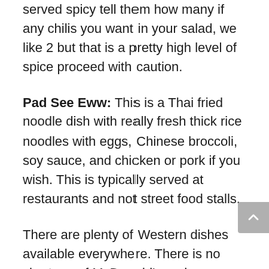served spicy tell them how many if any chilis you want in your salad, we like 2 but that is a pretty high level of spice proceed with caution.
Pad See Eww: This is a Thai fried noodle dish with really fresh thick rice noodles with eggs, Chinese broccoli, soy sauce, and chicken or pork if you wish. This is typically served at restaurants and not street food stalls.
There are plenty of Western dishes available everywhere. There is no shortage of McDonald's and Starbucks. If Thai food isn't your thing you can get a pizza or